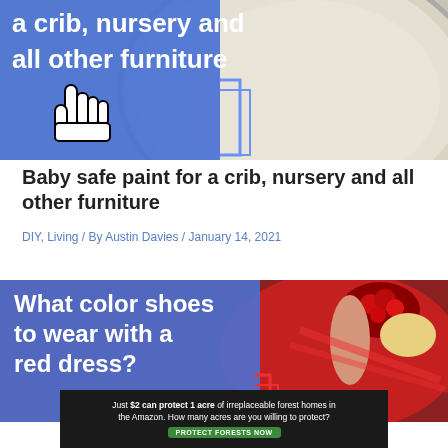[Figure (photo): Blue graphic overlay with text 'a crib, nursery and all other furniture' and a cursor/hand icon, overlaid on a paint can lid showing cream/beige paint]
Baby safe paint for a crib, nursery and all other furniture
DIY, Living / By Austin Davies / January 14, 2021
[Figure (photo): Blue graphic overlay with text 'What color shoes to wear with a red dress?' overlaid on a photo of a woman in a red dress holding red roses]
[Figure (screenshot): Ad banner: 'Just $2 can protect 1 acre of irreplaceable forest homes in the Amazon. How many acres are you willing to protect?' with a green 'PROTECT FORESTS NOW' button]